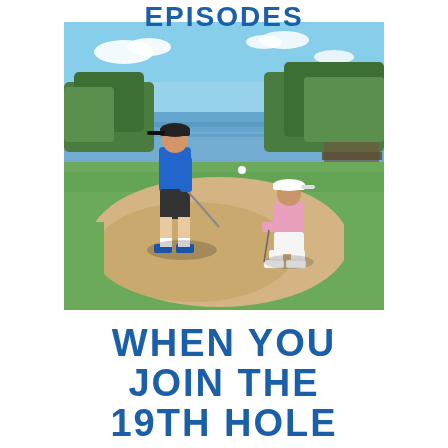EPISODES
[Figure (photo): Two golfers on a golf course near a sand bunker beside a lake. One golfer in blue shirt and dark shorts is hitting out of the bunker, the other in pink shirt and white visor is crouching nearby watching. Trees and water visible in background.]
WHEN YOU JOIN THE 19TH HOLE